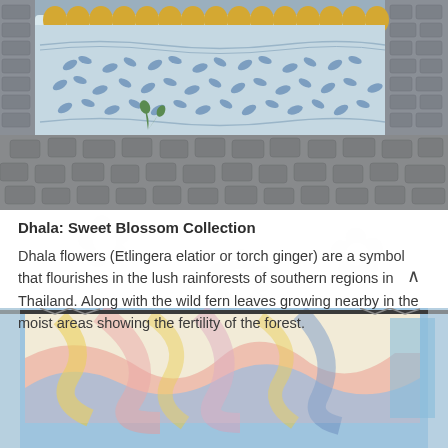[Figure (photo): A decorative textile or banner with blue leaf/floral pattern on a light background with gold/yellow scalloped border at top, displayed outdoors on a cobblestone surface]
Dhala: Sweet Blossom Collection
Dhala flowers (Etlingera elatior or torch ginger) are a symbol that flourishes in the lush rainforests of southern regions in Thailand. Along with the wild fern leaves growing nearby in the moist areas showing the fertility of the forest.
[Figure (photo): A colorful swirling artwork displayed in a storefront window, with abstract pastel swirls in pink, blue, yellow and orange. A metal rod holds the banner. Blue sky and building visible in reflection.]